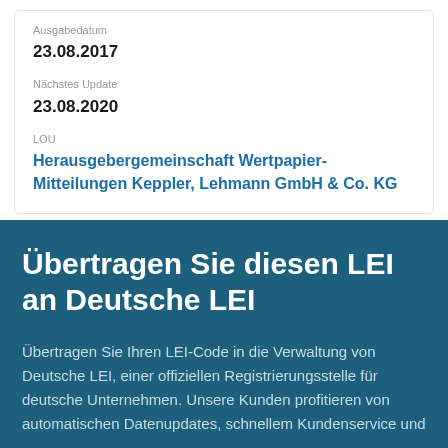Ausgabedatum
23.08.2017
Nächstes Update
23.08.2020
LOU
Herausgebergemeinschaft Wertpapier-Mitteilungen Keppler, Lehmann GmbH & Co. KG
Übertragen Sie diesen LEI an Deutsche LEI
Übertragen Sie Ihren LEI-Code in die Verwaltung von Deutsche LEI, einer offiziellen Registrierungsstelle für deutsche Unternehmen. Unsere Kunden profitieren von automatischen Datenupdates, schnellem Kundenservice und